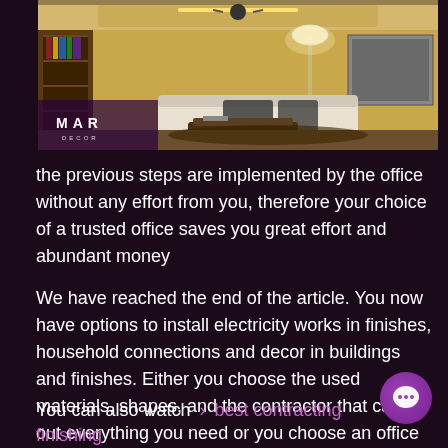[Figure (photo): Interior design photo of a modern living room with warm golden tones, ceiling lights, a floor lamp, white sofa with dark cushions, and a MAR DECOR logo overlay in the bottom left]
the previous steps are implemented by the office without any effort from you, therefore your choice of a trusted office saves you great effort and abundant money
We have reached the end of the article. You now have options to install electricity works in finishes, household connections and decor in buildings and finishes. Either you choose the used materials, shapes, and the contractor that carries out everything you need or you choose an office that saves you a lot
You can also watch > best contracting finishing offices